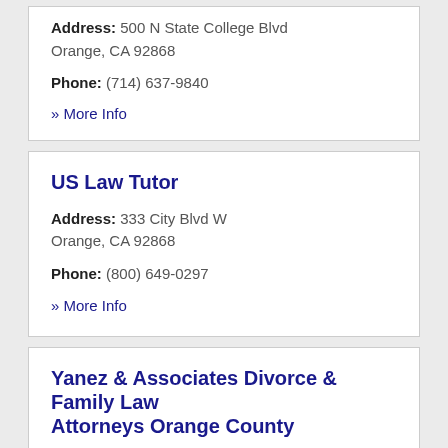Address: 500 N State College Blvd
Orange, CA 92868
Phone: (714) 637-9840
» More Info
US Law Tutor
Address: 333 City Blvd W
Orange, CA 92868
Phone: (800) 649-0297
» More Info
Yanez & Associates Divorce & Family Law Attorneys Orange County
Address: